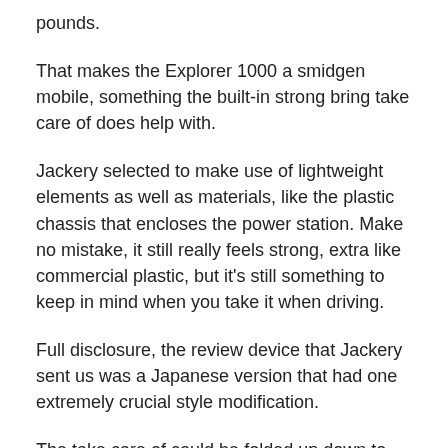pounds.
That makes the Explorer 1000 a smidgen mobile, something the built-in strong bring take care of does help with.
Jackery selected to make use of lightweight elements as well as materials, like the plastic chassis that encloses the power station. Make no mistake, it still really feels strong, extra like commercial plastic, but it's still something to keep in mind when you take it when driving.
Full disclosure, the review device that Jackery sent us was a Japanese version that had one extremely crucial style modification.
The take care of could be folded up down to